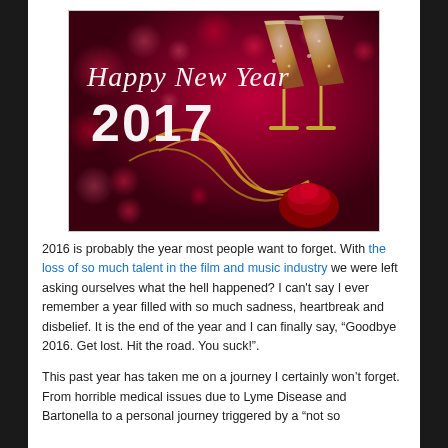[Figure (photo): Happy New Year 2017 greeting image with champagne glasses, red bokeh background, rose and gold ribbons. Text reads 'Happy New Year 2017'.]
2016 is probably the year most people want to forget. With the loss of so much talent in the film and music industry we were left asking ourselves what the hell happened? I can't say I ever remember a year filled with so much sadness, heartbreak and disbelief. It is the end of the year and I can finally say, "Goodbye 2016. Get lost. Hit the road. You suck!".
This past year has taken me on a journey I certainly won't forget. From horrible medical issues due to Lyme Disease and Bartonella to a personal journey triggered by a "not so